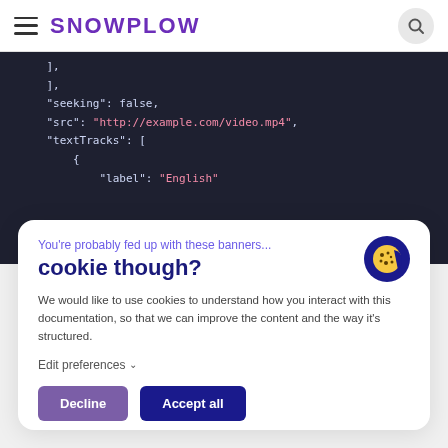SNOWPLOW
[Figure (screenshot): Code block showing JSON with keys: ], seeking: false, src: http://example.com/video.mp4, textTracks: [ { label: English]
You're probably fed up with these banners...
cookie though?
We would like to use cookies to understand how you interact with this documentation, so that we can improve the content and the way it's structured.
Edit preferences
Decline
Accept all